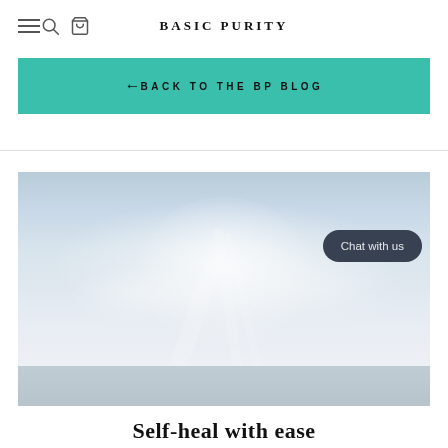BASIC PURITY
← BACK TO THE BP BLOG
[Figure (photo): A calm seascape photograph showing a pale sky with soft clouds and a distant horizon over calm water, with warm light rays visible near the center of the sky.]
Self-heal with ease